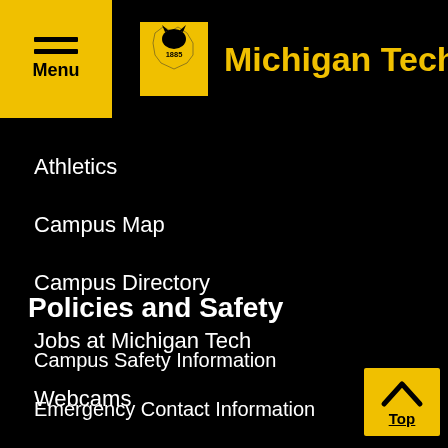Michigan Tech
Athletics
Campus Map
Campus Directory
Jobs at Michigan Tech
Webcams
Policies and Safety
Campus Safety Information
Emergency Contact Information
Report a Concern
Public Safety / Police Services